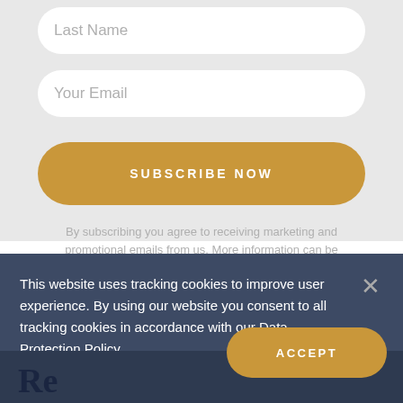Last Name
Your Email
SUBSCRIBE NOW
By subscribing you agree to receiving marketing and promotional emails from us. More information can be
This website uses tracking cookies to improve user experience. By using our website you consent to all tracking cookies in accordance with our Data Protection Policy.
ACCEPT